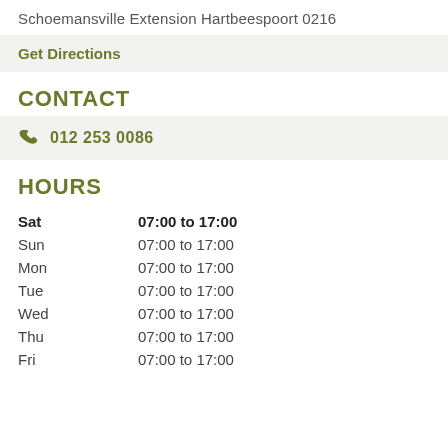Schoemansville Extension Hartbeespoort 0216
Get Directions
CONTACT
012 253 0086
HOURS
| Day | Hours |
| --- | --- |
| Sat | 07:00 to 17:00 |
| Sun | 07:00 to 17:00 |
| Mon | 07:00 to 17:00 |
| Tue | 07:00 to 17:00 |
| Wed | 07:00 to 17:00 |
| Thu | 07:00 to 17:00 |
| Fri | 07:00 to 17:00 |